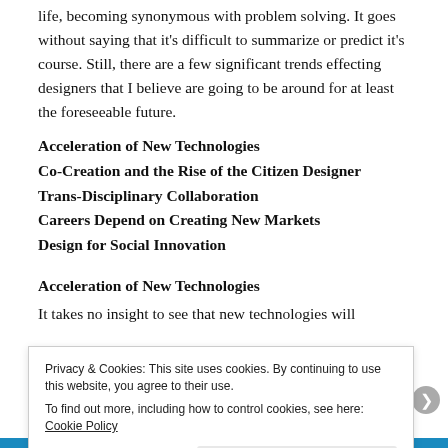life, becoming synonymous with problem solving. It goes without saying that it's difficult to summarize or predict it's course. Still, there are a few significant trends effecting designers that I believe are going to be around for at least the foreseeable future.
Acceleration of New Technologies
Co-Creation and the Rise of the Citizen Designer
Trans-Disciplinary Collaboration
Careers Depend on Creating New Markets
Design for Social Innovation
Acceleration of New Technologies
It takes no insight to see that new technologies will
Privacy & Cookies: This site uses cookies. By continuing to use this website, you agree to their use.
To find out more, including how to control cookies, see here: Cookie Policy
Close and accept